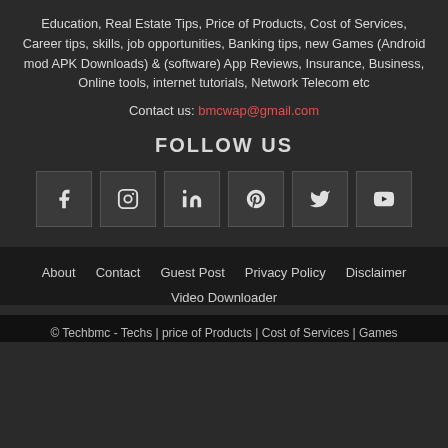Education, Real Estate Tips, Price of Products, Cost of Services, Career tips, skills, job opportunities, Banking tips, new Games (Android mod APK Downloads) & (software) App Reviews, Insurance, Business, Online tools, internet tutorials, Network Telecom etc
Contact us: bmcwap@gmail.com
FOLLOW US
[Figure (infographic): Row of 6 social media icon buttons: Facebook, Instagram, LinkedIn, Pinterest, Twitter, YouTube]
About  Contact  Guest Post  Privacy Policy  Disclaimer  Video Downloader
© Techbmc - Techs | price of Products | Cost of Services | Games